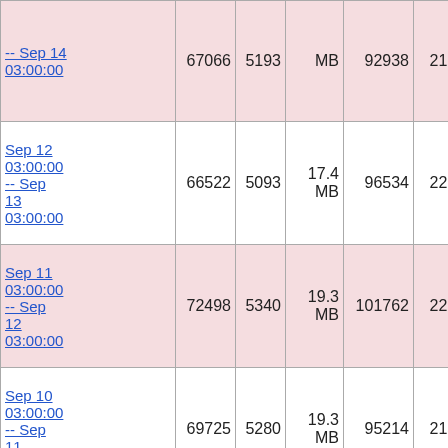| Date |  |  | MB |  |  |  |
| --- | --- | --- | --- | --- | --- | --- |
| -- Sep 14 03:00:00 | 67066 | 5193 | MB | 92938 | 21185 |  |
| Sep 12 03:00:00 -- Sep 13 03:00:00 | 66522 | 5093 | 17.4 MB | 96534 | 22174 | 8 |
| Sep 11 03:00:00 -- Sep 12 03:00:00 | 72498 | 5340 | 19.3 MB | 101762 | 22192 | 8 |
| Sep 10 03:00:00 -- Sep 11 03:00:00 | 69725 | 5280 | 19.3 MB | 95214 | 21547 | 8 |
| Sep 9 03:00:00 -- Sep 10 03:00:00 | 74241 | 5899 | 21.9 MB | 412284 | 327872 | 1.0 |
| Sep 8 |  |  |  |  |  |  |